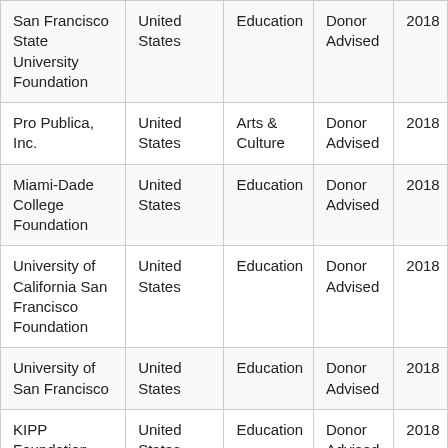| San Francisco State University Foundation | United States | Education | Donor Advised | 2018 |
| Pro Publica, Inc. | United States | Arts & Culture | Donor Advised | 2018 |
| Miami-Dade College Foundation | United States | Education | Donor Advised | 2018 |
| University of California San Francisco Foundation | United States | Education | Donor Advised | 2018 |
| University of San Francisco | United States | Education | Donor Advised | 2018 |
| KIPP Foundation | United States | Education | Donor Advised | 2018 |
| Board of Trustees of the Leland Stanford | United States | Education | Donor Advised | 2018 |